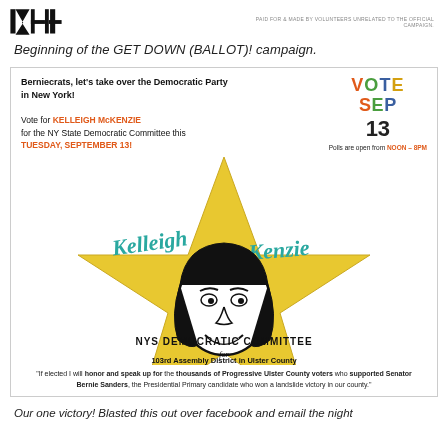PAID FOR & MADE BY VOLUNTEERS UNRELATED TO THE OFFICIAL CAMPAIGN.
Beginning of the GET DOWN (BALLOT)! campaign.
[Figure (illustration): Campaign flyer for Kelleigh McKenzie running for NYS Democratic Committee, 103rd Assembly District in Ulster County. Features a yellow star with a line-art portrait of McKenzie, her name in teal cursive, voting information for September 13, and a quote about representing progressive Ulster County voters.]
"If elected I will honor and speak up for the thousands of Progressive Ulster County voters who supported Senator Bernie Sanders, the Presidential Primary candidate who won a landslide victory in our county."
Our one victory! Blasted this out over facebook and email the night